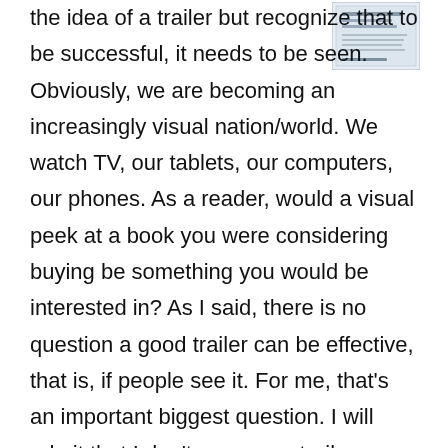[Figure (illustration): Small book cover image in top right corner, showing a book with text on its cover]
the idea of a trailer but recognize that to be successful, it needs to be seen. Obviously, we are becoming an increasingly visual nation/world. We watch TV, our tablets, our computers, our phones. As a reader, would a visual peek at a book you were considering buying be something you would be interested in? As I said, there is no question a good trailer can be effective, that is, if people see it. For me, that's an important biggest question. I will admit that I don't see many trailers when I scroll through Amazon for my next read. Why is that? Where it is on the page? Do we skim past them? Or are they not there due to the